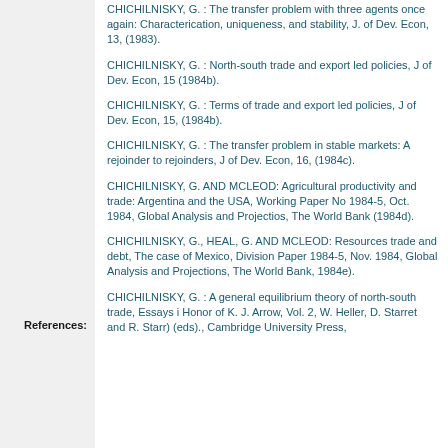CHICHILNISKY, G. : The transfer problem with three agents once again: Characterication, uniqueness, and stability, J. of Dev. Econ, 13, (1983).
CHICHILNISKY, G. : North-south trade and export led policies, J of Dev. Econ, 15 (1984b).
CHICHILNISKY, G. : Terms of trade and export led policies, J of Dev. Econ, 15, (1984b).
CHICHILNISKY, G. : The transfer problem in stable markets: A rejoinder to rejoinders, J of Dev. Econ, 16, (1984c).
CHICHILNISKY, G. AND MCLEOD: Agricultural productivity and trade: Argentina and the USA, Working Paper No 1984-5, Oct. 1984, Global Analysis and Projectios, The World Bank (1984d).
CHICHILNISKY, G., HEAL, G. AND MCLEOD: Resources trade and debt, The case of Mexico, Division Paper 1984-5, Nov. 1984, Global Analysis and Projections, The World Bank, 1984e).
CHICHILNISKY, G. : A general equilibrium theory of north-south trade, Essays i Honor of K. J. Arrow, Vol. 2, W. Heller, D. Starret and R. Starr) (eds)., Cambridge University Press,
References: